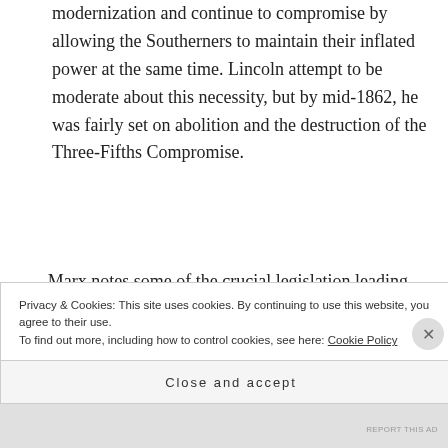modernization and continue to compromise by allowing the Southerners to maintain their inflated power at the same time. Lincoln attempt to be moderate about this necessity, but by mid-1862, he was fairly set on abolition and the destruction of the Three-Fifths Compromise.
Marx notes some of the crucial legislation leading up to the the war, including the abolition of slavery in DC, elimination of slavery in the territories, West Virginia
Privacy & Cookies: This site uses cookies. By continuing to use this website, you agree to their use.
To find out more, including how to control cookies, see here: Cookie Policy
Close and accept